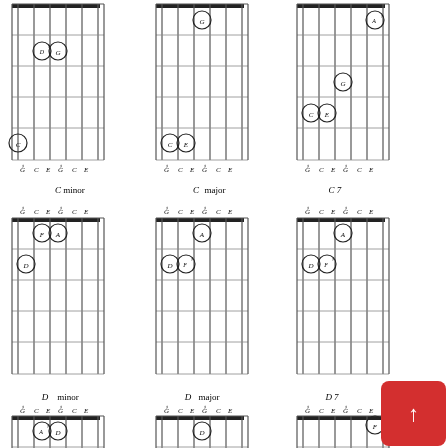[Figure (illustration): Guitar chord diagram for C minor showing finger positions on fretboard]
[Figure (illustration): Guitar chord diagram for C major showing finger positions on fretboard]
[Figure (illustration): Guitar chord diagram for C7 showing finger positions on fretboard]
C minor
C major
C 7
[Figure (illustration): Guitar chord diagram for D minor showing finger positions on fretboard]
[Figure (illustration): Guitar chord diagram for D major showing finger positions on fretboard]
[Figure (illustration): Guitar chord diagram for D7 showing finger positions on fretboard]
D minor
D major
D 7
[Figure (illustration): Guitar chord diagram for E minor (partial) showing finger positions on fretboard]
[Figure (illustration): Guitar chord diagram for E major (partial) showing finger positions on fretboard]
[Figure (illustration): Guitar chord diagram for E7 (partial) with red scroll button overlay]